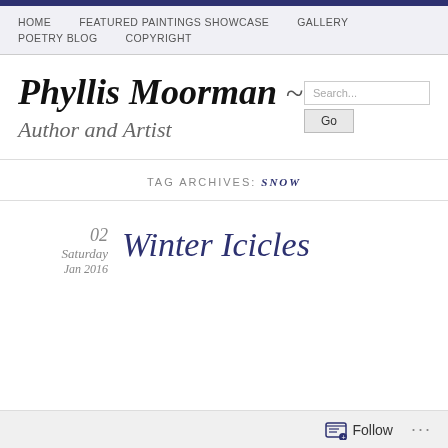HOME   FEATURED PAINTINGS SHOWCASE   GALLERY   POETRY BLOG   COPYRIGHT
Phyllis Moorman ~ Author and Artist
TAG ARCHIVES: SNOW
02 Saturday Jan 2016
Winter Icicles